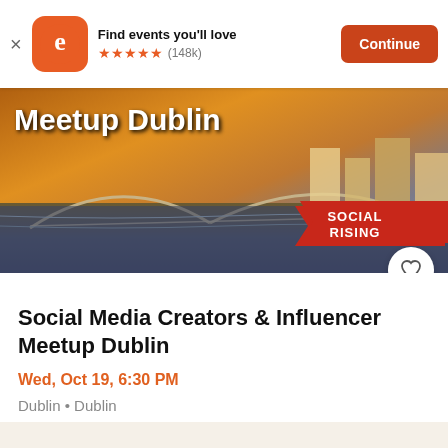[Figure (screenshot): Eventbrite app banner with logo, 5 stars rating (148k reviews), and Continue button]
[Figure (photo): Hero banner image showing Ha'penny Bridge Dublin at sunset with 'Meetup Dublin' text and 'Social Rising' badge overlay]
Social Media Creators & Influencer Meetup Dublin
Wed, Oct 19, 6:30 PM
Dublin • Dublin
Free